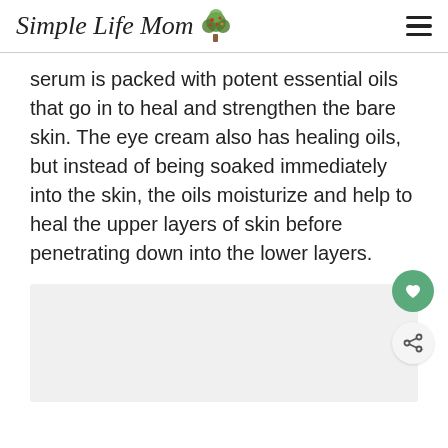Simple Life Mom
serum is packed with potent essential oils that go in to heal and strengthen the bare skin. The eye cream also has healing oils, but instead of being soaked immediately into the skin, the oils moisturize and help to heal the upper layers of skin before penetrating down into the lower layers.
[Figure (photo): Image placeholder area (light gray rectangle), content not visible]